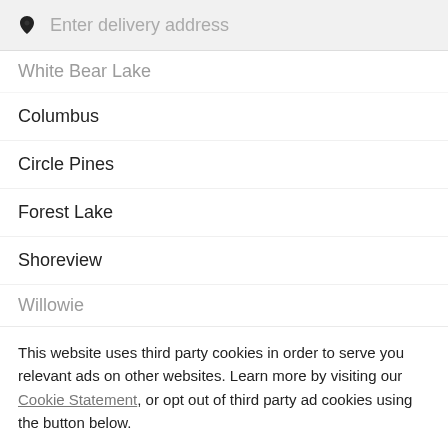[Figure (screenshot): Search bar with location pin icon and placeholder text 'Enter delivery address' on grey background]
White Bear Lake (partially visible, cut off at top)
Columbus
Circle Pines
Forest Lake
Shoreview
Willowrie (partially visible, cut off)
This website uses third party cookies in order to serve you relevant ads on other websites. Learn more by visiting our Cookie Statement, or opt out of third party ad cookies using the button below.
OPT OUT
GOT IT